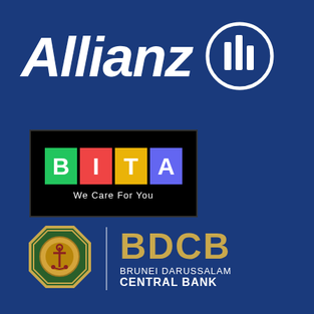[Figure (logo): Allianz logo: white italic 'Allianz' text with the Allianz eagle/bar chart circle icon to the right, on a dark blue background]
[Figure (logo): BITA logo: black rectangle containing four colored squares (green B, red I, yellow T, purple A) with tagline 'We Care For You' in white below]
[Figure (logo): Brunei Darussalam Central Bank (BDCB) logo: octagonal gold-bordered seal on the left, vertical white divider, then 'BDCB' in gold large letters and 'BRUNEI DARUSSALAM CENTRAL BANK' in white below]